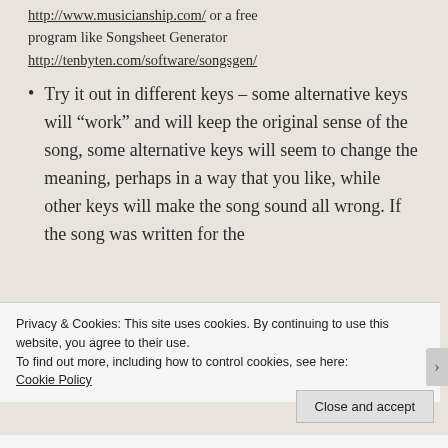program like Songsheet Generator http://tenbyten.com/software/songsgen/
Try it out in different keys – some alternative keys will “work” and will keep the original sense of the song, some alternative keys will seem to change the meaning, perhaps in a way that you like, while other keys will make the song sound all wrong. If the song was written for the
Privacy & Cookies: This site uses cookies. By continuing to use this website, you agree to their use.
To find out more, including how to control cookies, see here: Cookie Policy
Close and accept